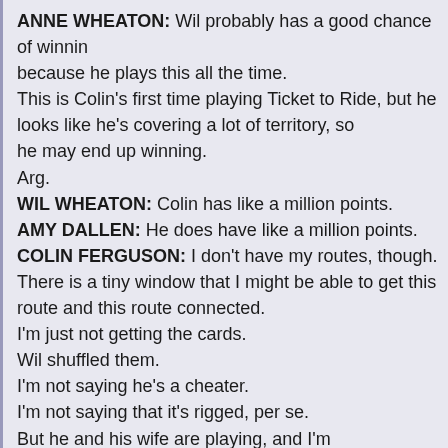ANNE WHEATON: Wil probably has a good chance of winning because he plays this all the time. This is Colin's first time playing Ticket to Ride, but he looks like he's covering a lot of territory, so he may end up winning. Arg. WIL WHEATON: Colin has like a million points. AMY DALLEN: He does have like a million points. COLIN FERGUSON: I don't have my routes, though. There is a tiny window that I might be able to get this route and this route connected. I'm just not getting the cards. Wil shuffled them. I'm not saying he's a cheater. I'm not saying that it's rigged, per se. But he and his wife are playing, and I'm not getting any cards. So-- WIL WHEATON: You're up, Colin. COLIN FERGUSON: I'm going to take a card. WIL WHEATON: Really?